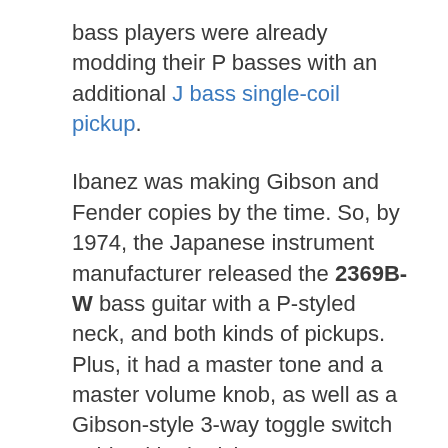bass players were already modding their P basses with an additional J bass single-coil pickup.
Ibanez was making Gibson and Fender copies by the time. So, by 1974, the Japanese instrument manufacturer released the 2369B-W bass guitar with a P-styled neck, and both kinds of pickups. Plus, it had a master tone and a master volume knob, as well as a Gibson-style 3-way toggle switch to blend both pickups.